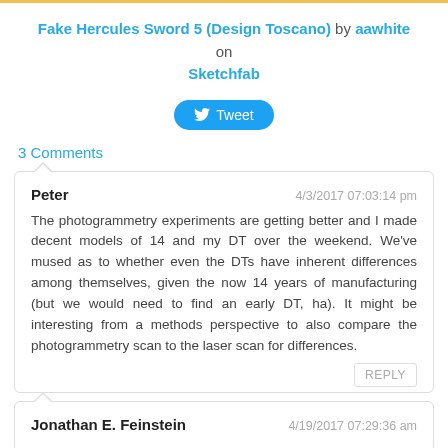Fake Hercules Sword 5 (Design Toscano) by aawhite on Sketchfab
[Figure (other): Tweet button with Twitter bird icon]
3 Comments
Peter
4/3/2017 07:03:14 pm
The photogrammetry experiments are getting better and I made decent models of 14 and my DT over the weekend. We've mused as to whether even the DTs have inherent differences among themselves, given the now 14 years of manufacturing (but we would need to find an early DT, ha). It might be interesting from a methods perspective to also compare the photogrammetry scan to the laser scan for differences.
REPLY
Jonathan E. Feinstein
4/19/2017 07:29:36 am